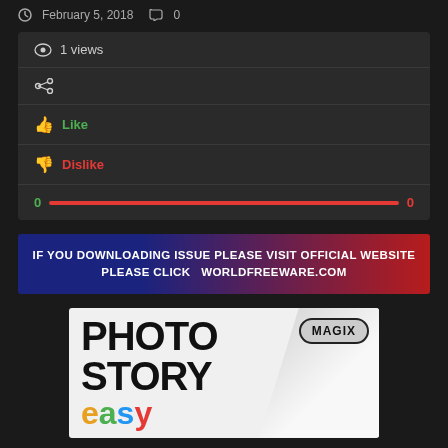February 5, 2018  0
1 views
share
Like
Dislike
0  0
IF YOU DOWNLOADING ISSUE PLEASE VISIT OFFICIAL WEBSITE PLEASE CLICK  WORLDFREEWARE.COM
[Figure (photo): MAGIX Photo Story Easy product box art showing large black text PHOTO STORY on white background with MAGIX oval logo badge and colorful 'easy' text below]